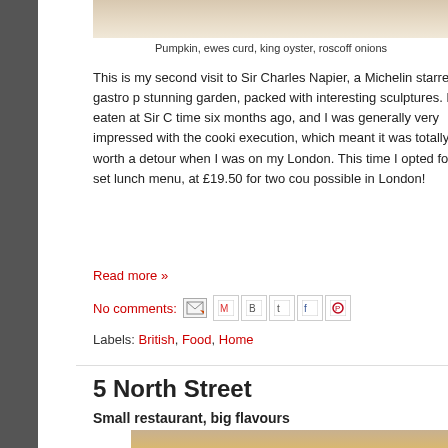[Figure (photo): Top partial image of food dish, cropped at top of page]
Pumpkin, ewes curd, king oyster, roscoff onions
This is my second visit to Sir Charles Napier, a Michelin starred gastro pub with a stunning garden, packed with interesting sculptures. I had eaten at Sir Charles for the first time six months ago, and I was generally very impressed with the cooking and its execution, which meant it was totally worth a detour when I was on my way back from London. This time I opted for the set lunch menu, at £19.50 for two cou... possible in London!
Read more »
No comments:
Labels: British, Food, Home
5 North Street
Small restaurant, big flavours
[Figure (photo): Bottom partial image of food dish in bowl, cropped at bottom of page]